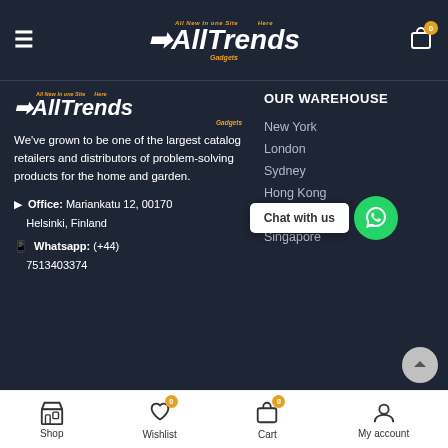[Figure (logo): All Trends Gadgets logo in header - white italic bold text with orange accents]
We've grown to be one of the largest catalog retailers and distributors of problem-solving products for the home and garden.
Office: Mariankatu 12, 00170 Helsinki, Finland
Whatsapp: (+44) 7513403374
OUR WAREHOUSE
New York
London
Sydney
Hong Kong
Malaysia
Singapore
Chat with us
Shop   Wishlist   Cart   My account